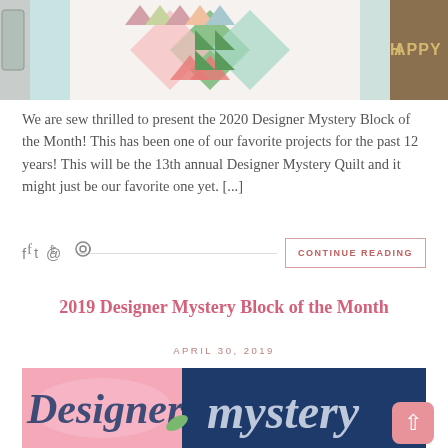[Figure (photo): A decorative quilt with green, coral/red, and teal geometric star/pinwheel block pattern hung on a wall, with decorative jars on the left and a 'HAPPY' wooden sign on the right]
We are sew thrilled to present the 2020 Designer Mystery Block of the Month! This has been one of our favorite projects for the past 12 years! This will be the 13th annual Designer Mystery Quilt and it might just be our favorite one yet. [...]
CONTINUE READING
2019 Designer Mystery Block of the Month
APRIL 30, 2019
[Figure (photo): Partial image showing decorative text 'Designer Mystery' in script lettering with pink and navy colors, partially cropped at bottom of page]